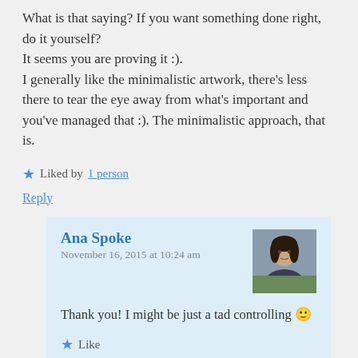What is that saying? If you want something done right, do it yourself?
It seems you are proving it :).
I generally like the minimalistic artwork, there's less there to tear the eye away from what's important and you've managed that :). The minimalistic approach, that is.
★ Liked by 1 person
Reply
Ana Spoke
November 16, 2015 at 10:24 am
[Figure (photo): Avatar photo of Ana Spoke, a woman with dark hair]
Thank you! I might be just a tad controlling 🙂
★ Like
Reply